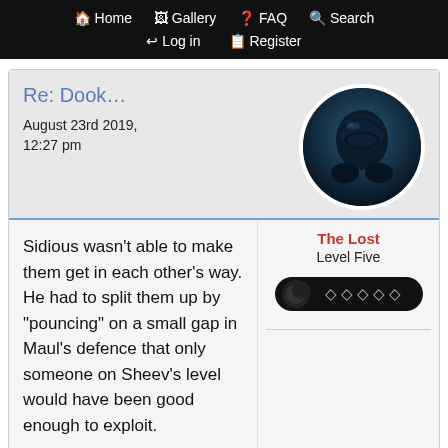Home  Gallery  FAQ  Search  Log in  Register
Re: Dook…
August 23rd 2019, 12:27 pm
[Figure (photo): Circular avatar showing a dark armored figure (Darth Vader-like) with blue/dark tones]
The Lost
Level Five
[Figure (infographic): Rank bar with a crescent moon icon and four diamond pip icons on a black rounded bar]
Sidious wasn't able to make them get in each other's way. He had to split them up by "pouncing" on a small gap in Maul's defence that only someone on Sheev's level would have been good enough to exploit.